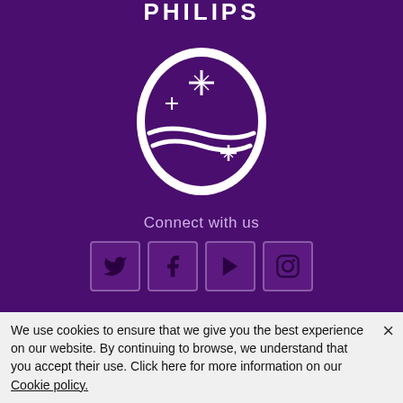[Figure (logo): Philips logo — white shield shape with star/sparkle motifs and wave lines on dark purple background, with PHILIPS wordmark above]
Connect with us
[Figure (infographic): Four social media icon buttons in a row: Twitter (bird), Facebook (f), YouTube (play triangle), Instagram (camera). White icons on dark purple square buttons with border.]
Select country  PT – English ›
Contact Philips dictation solutions | Legal notice | Cookie notice | Privacy policy | Terms of use
We use cookies to ensure that we give you the best experience on our website. By continuing to browse, we understand that you accept their use. Click here for more information on our Cookie policy.